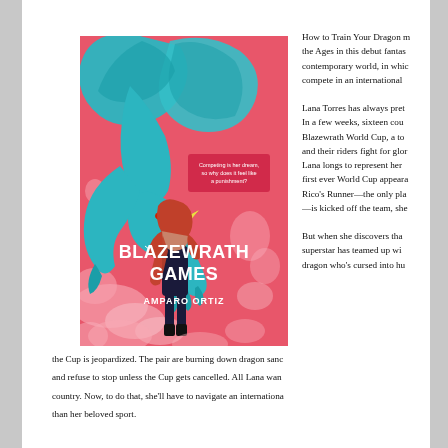[Figure (illustration): Book cover of 'Blazewrath Games' by Amparo Ortiz. Pink/coral background with a teal dragon and a girl with red hair. Title in bold white text 'BLAZEWRATH GAMES', author name 'AMPARO ORTIZ' below. Tagline: 'Competing is her dream, so why does it feel like a punishment?']
How to Train Your Dragon meets Battle of the Ages in this debut fantasy set in a contemporary world, in which a girl must compete in an international
Lana Torres has always pret... In a few weeks, sixteen cou... Blazewrath World Cup, a to... and their riders fight for glory... Lana longs to represent her... first ever World Cup appeara... Rico's Runner—the only pla... —is kicked off the team, she...
But when she discovers tha... superstar has teamed up wi... dragon who's cursed into hu... the Cup is jeopardized. The pair are burning down dragon sand... and refuse to stop unless the Cup gets cancelled. All Lana wan... country. Now, to do that, she'll have to navigate an internationa... than her beloved sport.